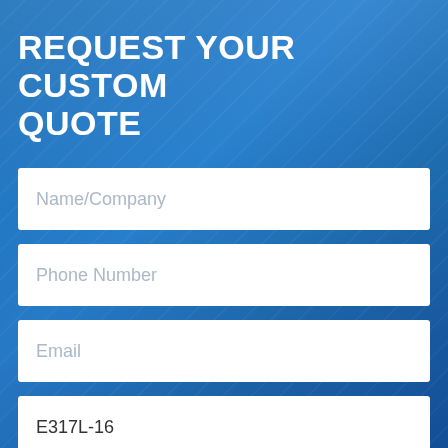REQUEST YOUR CUSTOM QUOTE
Name/Company
Phone Number
Email
E317L-16